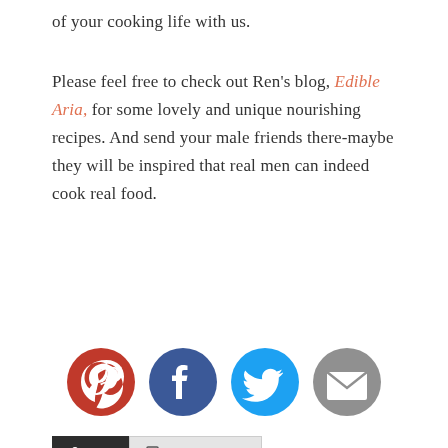of your cooking life with us.
Please feel free to check out Ren's blog, Edible Aria, for some lovely and unique nourishing recipes. And send your male friends there-maybe they will be inspired that real men can indeed cook real food.
[Figure (other): Pin it button - small rounded rectangle button with italic red 'Pin it' text]
[Figure (other): Social sharing icons row: Pinterest (red circle with P), Facebook (dark blue circle with f), Twitter (light blue circle with bird), Email (gray circle with envelope)]
[Figure (other): Author bio section with Bio and Latest Posts tabs. Bio tab is dark/black, Latest Posts tab is light gray. Below: author card with photo of person and name KIMIHARRIS in orange, with partial bio text 'I love beautiful and simple food that is nourishing to the body and the...']